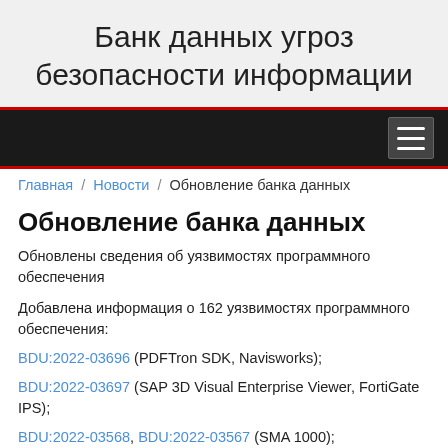Банк данных угроз безопасности информации
navigation bar with hamburger menu
Главная / Новости / Обновление банка данных
Обновление банка данных
Обновлены сведения об уязвимостях программного обеспечения
Добавлена информация о 162 уязвимостях программного обеспечения:
BDU:2022-03696 (PDFTron SDK, Navisworks);
BDU:2022-03697 (SAP 3D Visual Enterprise Viewer, FortiGate IPS);
BDU:2022-03568, BDU:2022-03567 (SMA 1000);